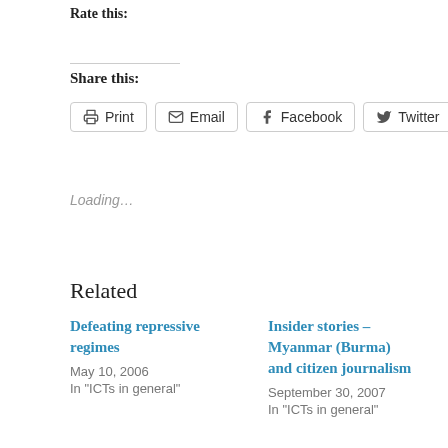Rate this:
Share this:
Print  Email  Facebook  Twitter
Loading…
Related
Defeating repressive regimes
May 10, 2006
In "ICTs in general"
Insider stories – Myanmar (Burma) and citizen journalism
September 30, 2007
In "ICTs in general"